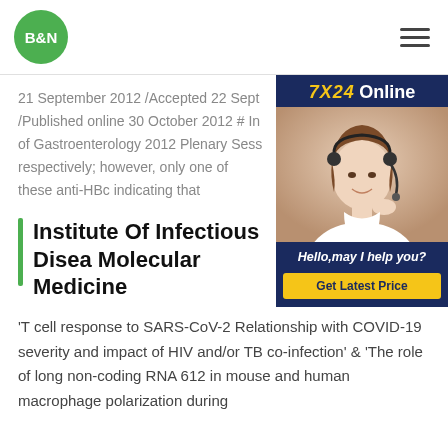[Figure (logo): B&N green circular logo in page header]
21 September 2012 /Accepted 22 Sept /Published online 30 October 2012 # In of Gastroenterology 2012 Plenary Sess respectively; however, only one of these anti-HBc indicating that
[Figure (photo): 7X24 Online advertisement banner with a woman wearing a headset, text 'Hello, may I help you?' and a yellow 'Get Latest Price' button]
Institute Of Infectious Disea Molecular Medicine
'T cell response to SARS-CoV-2 Relationship with COVID-19 severity and impact of HIV and/or TB co-infection' & 'The role of long non-coding RNA 612 in mouse and human macrophage polarization during